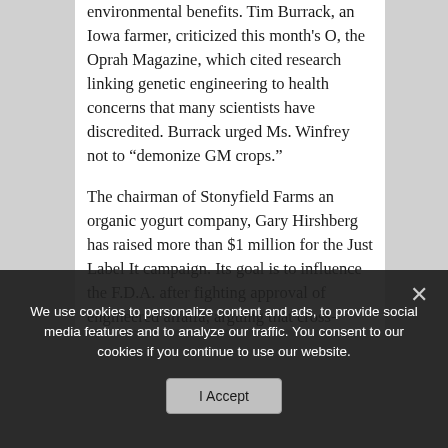environmental benefits. Tim Burrack, an Iowa farmer, criticized this month's O, the Oprah Magazine, which cited research linking genetic engineering to health concerns that many scientists have discredited. Burrack urged Ms. Winfrey not to “demonize GM crops.”
The chairman of Stonyfield Farms an organic yogurt company, Gary Hirshberg has raised more than $1 million for the Just Label It campaign. Its goal is to influence the F.D.A. after fighting approval of engineered alfalfa, arguing that cross-pollination would contaminate organic crops fed to cows. “This is an issue of transparency, truth and trust in
We use cookies to personalize content and ads, to provide social media features and to analyze our traffic. You consent to our cookies if you continue to use our website.